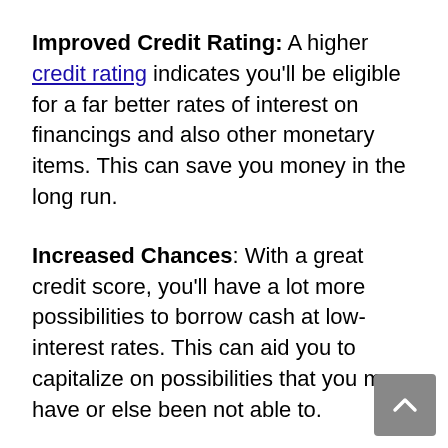Improved Credit Rating: A higher credit rating indicates you'll be eligible for a far better rates of interest on financings and also other monetary items. This can save you money in the long run.
Increased Chances: With a great credit score, you'll have a lot more possibilities to borrow cash at low-interest rates. This can aid you to capitalize on possibilities that you may have or else been not able to.
Better Financial Future: By repairing your credit, you're taking steps to enhance your economic future. This can help you to secure